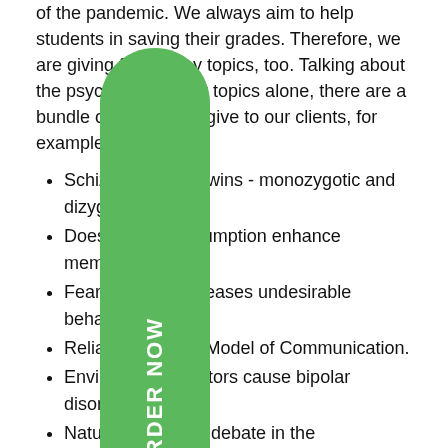of the pandemic. We always aim to help students in saving their grades. Therefore, we are giving free essay topics, too. Talking about the psychology essay topics alone, there are a bundle of options we give to our clients, for example;
Schizophrenia in twins - monozygotic and dizygotic
Does coffee consumption enhance memory?
Fear arousal decreases undesirable behavior.
Reliability of Yale Model of Communication.
Environmental factors cause bipolar disorder.
Nature vs Nurture debate in the development of Phobias.
All these topic are well-researched and is backed by our professional psychology writing help as well.
Custom And Quality Assured Services
We have been giving options to students to customize their essays. Since the pandemic, students had to leave